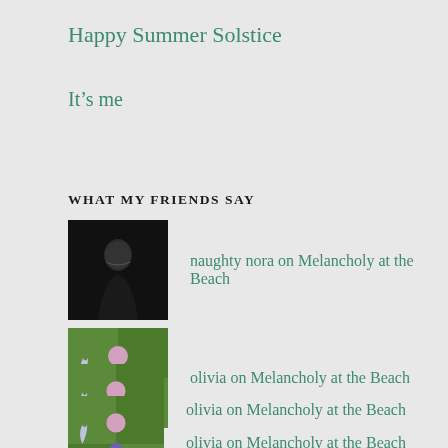Happy Summer Solstice
It’s me
WHAT MY FRIENDS SAY
naughty nora on Melancholy at the Beach
olivia on Melancholy at the Beach
olivia on Melancholy at the Beach
olivia on Melancholy at the Beach
olivia on Melancholy at the Beach